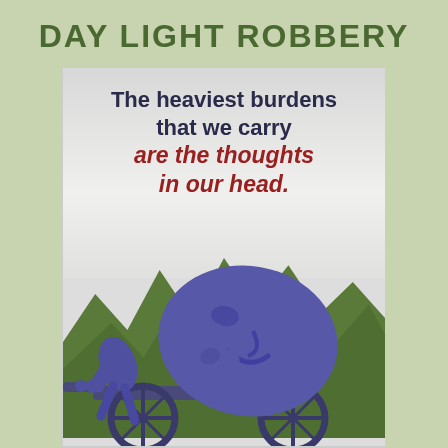DAY LIGHT ROBBERY
[Figure (photo): A sculpture of a small human figure pushing a cart/wheelbarrow carrying an enormous oversized human head, set against a background of palm trees. The statue is blue-grey stone. The quote text overlays the top portion of the image: 'The heaviest burdens that we carry are the thoughts in our head.']
The heaviest burdens that we carry are the thoughts in our head.